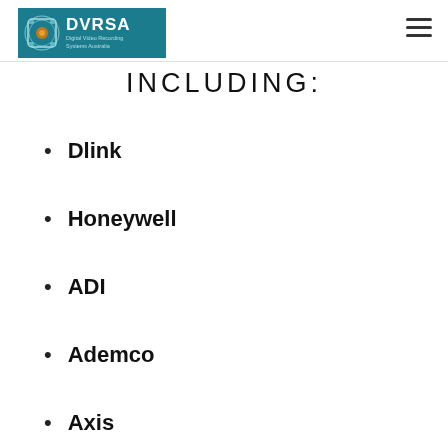DVRSA Digital Video Recording Systems Australia
INCLUDING:
Dlink
Honeywell
ADI
Ademco
Axis